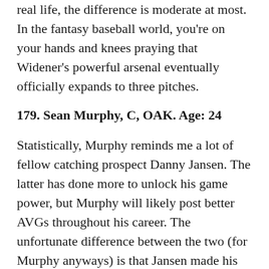real life, the difference is moderate at most. In the fantasy baseball world, you're on your hands and knees praying that Widener's powerful arsenal eventually officially expands to three pitches.
179. Sean Murphy, C, OAK. Age: 24
Statistically, Murphy reminds me a lot of fellow catching prospect Danny Jansen. The latter has done more to unlock his game power, but Murphy will likely post better AVGs throughout his career. The unfortunate difference between the two (for Murphy anyways) is that Jansen made his big league debut at age of 27, and